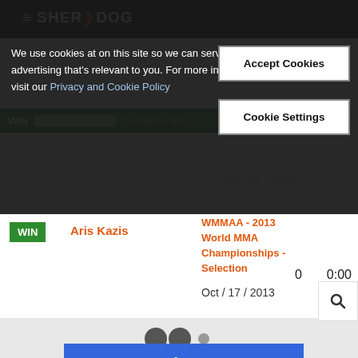[Figure (screenshot): Sherdog website header with cookie consent overlay, fight record row, loading indicator, and advertisement banner]
We use cookies at on this site so we can serve up content and advertising that's relevant to you. For more information, please visit our Privacy and Cookie Policy
Accept Cookies
Cookie Settings
WMMAA - 2013 World MMA Championships - Selection
WIN  Aris Kazis
Oct / 17 / 2013
0  0:00
Boost your site's engagement with custom content experiences